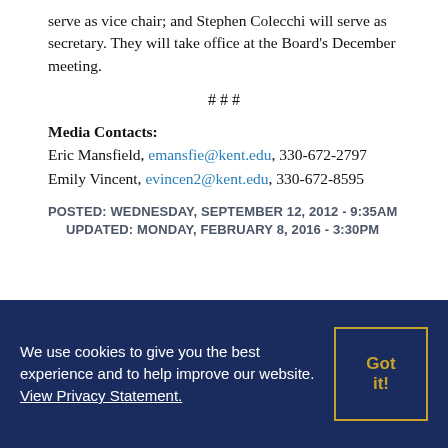serve as vice chair; and Stephen Colecchi will serve as secretary. They will take office at the Board's December meeting.
# # #
Media Contacts:
Eric Mansfield, emansfie@kent.edu, 330-672-2797
Emily Vincent, evincen2@kent.edu, 330-672-8595
POSTED: WEDNESDAY, SEPTEMBER 12, 2012 - 9:35AM
UPDATED: MONDAY, FEBRUARY 8, 2016 - 3:30PM
We use cookies to give you the best experience and to help improve our website. View Privacy Statement.